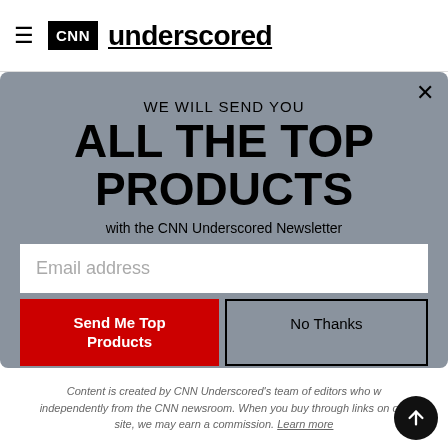CNN underscored
WE WILL SEND YOU ALL THE TOP PRODUCTS
with the CNN Underscored Newsletter
Email address
Send Me Top Products
No Thanks
By subscribing, you agree to our privacy policy.
Content is created by CNN Underscored's team of editors who work independently from the CNN newsroom. When you buy through links on our site, we may earn a commission. Learn more